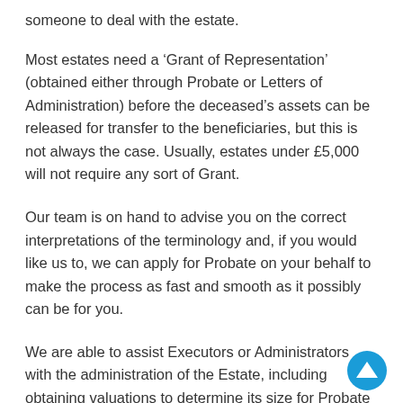someone to deal with the estate.
Most estates need a ‘Grant of Representation’ (obtained either through Probate or Letters of Administration) before the deceased’s assets can be released for transfer to the beneficiaries, but this is not always the case. Usually, estates under £5,000 will not require any sort of Grant.
Our team is on hand to advise you on the correct interpretations of the terminology and, if you would like us to, we can apply for Probate on your behalf to make the process as fast and smooth as it possibly can be for you.
We are able to assist Executors or Administrators with the administration of the Estate, including obtaining valuations to determine its size for Probate and Inheritance Tax (IHT) purposes.